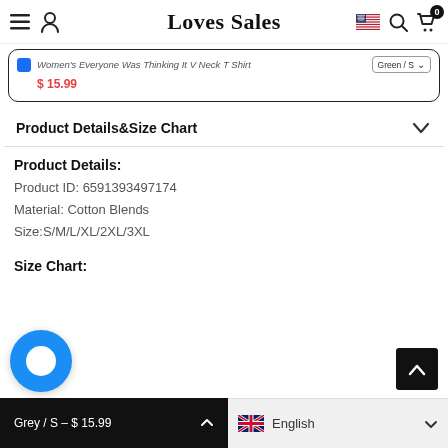Loves Sales
Women's Everyone Was Thinking It V Neck T Shirt  Green / S  $15.99
Product Details&Size Chart
Product Details:
Product ID: 6591393497174
Material: Cotton Blends
Size:S/M/L/XL/2XL/3XL
Size Chart:
Grey / S – $15.99   English